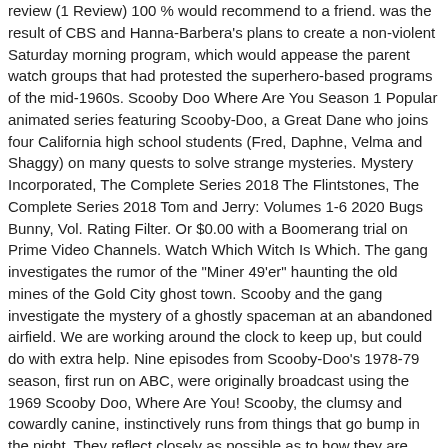review (1 Review) 100 % would recommend to a friend. was the result of CBS and Hanna-Barbera's plans to create a non-violent Saturday morning program, which would appease the parent watch groups that had protested the superhero-based programs of the mid-1960s. Scooby Doo Where Are You Season 1 Popular animated series featuring Scooby-Doo, a Great Dane who joins four California high school students (Fred, Daphne, Velma and Shaggy) on many quests to solve strange mysteries. Mystery Incorporated, The Complete Series 2018 The Flintstones, The Complete Series 2018 Tom and Jerry: Volumes 1-6 2020 Bugs Bunny, Vol. Rating Filter. Or $0.00 with a Boomerang trial on Prime Video Channels. Watch Which Witch Is Which. The gang investigates the rumor of the "Miner 49'er" haunting the old mines of the Gold City ghost town. Scooby and the gang investigate the mystery of a ghostly spaceman at an abandoned airfield. We are working around the clock to keep up, but could do with extra help. Nine episodes from Scooby-Doo's 1978-79 season, first run on ABC, were originally broadcast using the 1969 Scooby Doo, Where Are You! Scooby, the clumsy and cowardly canine, instinctively runs from things that go bump in the night. They reflect closely as possible as to how they are presented on-screen. He and some other heirs will each get a fortune but there's a warning that the house is haunted. debuted on CBS for a September 13, 1969,